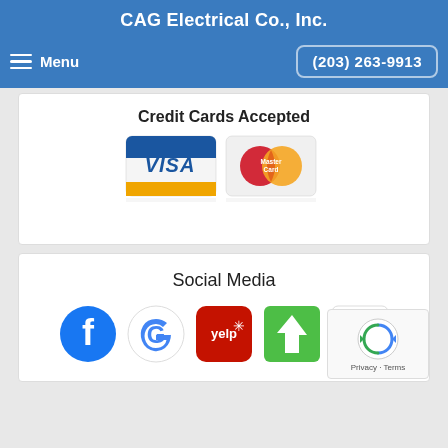CAG Electrical Co., Inc.
Menu  (203) 263-9913
Credit Cards Accepted
[Figure (logo): Visa and MasterCard credit card logos side by side]
Social Media
[Figure (logo): Social media icons: Facebook, Google, Yelp, Houzz, BBB, and reCAPTCHA overlay]